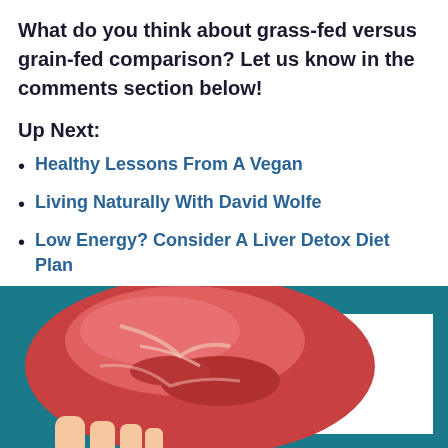What do you think about grass-fed versus grain-fed comparison? Let us know in the comments section below!
Up Next:
Healthy Lessons From A Vegan
Living Naturally With David Wolfe
Low Energy? Consider A Liver Detox Diet Plan
[Figure (photo): A raw cut of beef (red meat) held by a hand, displayed against a teal/dark blue background with a white rectangular overlay area on the right side.]